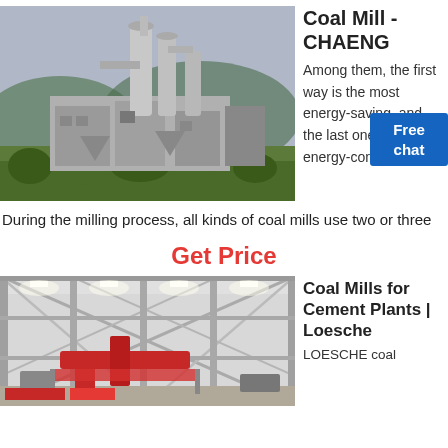[Figure (photo): Outdoor industrial coal mill facility with large vertical cylindrical structures, hoppers, conveyors, and equipment surrounded by vegetation with mountains in background.]
Coal Mill - CHAENG
Among them, the first way is the most energy-saving, and the last one most energy-consuming.
During the milling process, all kinds of coal mills use two or three
Get Price
[Figure (photo): Interior of a large industrial building or factory with steel frame structure, bright overhead lighting, and industrial equipment including what appears to be a large red machine or crane on the floor.]
Coal Mills for Cement Plants | Loesche
LOESCHE coal